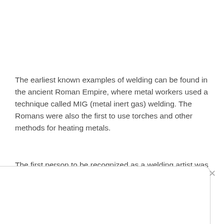The earliest known examples of welding can be found in the ancient Roman Empire, where metal workers used a technique called MIG (metal inert gas) welding. The Romans were also the first to use torches and other methods for heating metals.
The first person to be recognized as a welding artist was the American sculptor, George Wesley Bellows.